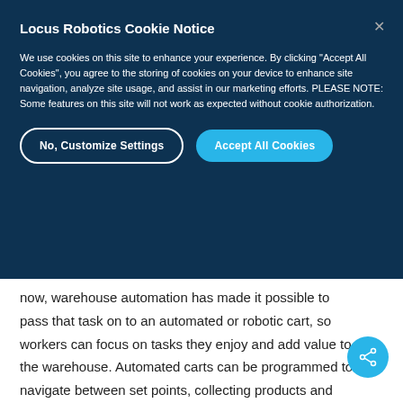LOCUS ROBOTICS
Locus Robotics Cookie Notice
We use cookies on this site to enhance your experience. By clicking "Accept All Cookies", you agree to the storing of cookies on your device to enhance site navigation, analyze site usage, and assist in our marketing efforts. PLEASE NOTE: Some features on this site will not work as expected without cookie authorization.
now, warehouse automation has made it possible to pass that task on to an automated or robotic cart, so workers can focus on tasks they enjoy and add value to the warehouse. Automated carts can be programmed to navigate between set points, collecting products and delivering them to storage, shipping, assembly, and more.